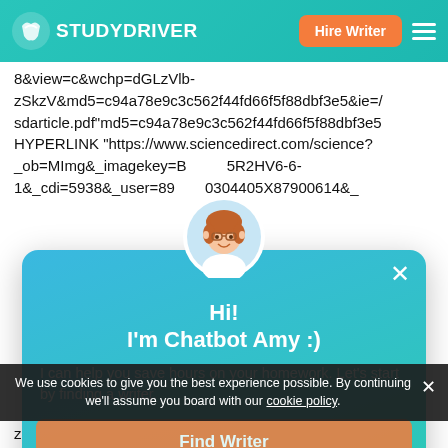[Figure (screenshot): StudyDriver website header with teal gradient background, logo, 'Hire Writer' orange button, and hamburger menu.]
8&view=c&wchp=dGLzVlb-zSkzV&md5=c94a78e9c3c562f44fd66f5f88dbf3e5&ie=/sdarticle.pdf"md5=c94a78e9c3c562f44fd66f5f88dbf3e5 HYPERLINK "https://www.sciencedirect.com/science?_ob=MImg&_imagekey=B...5R2HV6-6-1&_cdi=5938&_user=89...0304405X87900614&_
[Figure (illustration): Chatbot avatar of a woman with glasses and brown hair in a circular frame.]
Hi!
I'm Chatbot Amy :)
I can help you save hours on your homework. Let's start by finding a writer.
Find Writer
We use cookies to give you the best experience possible. By continuing we'll assume you board with our cookie policy.
zSkzV&md5=c94a78e9c3c562f44fd66f5f88dbf3e5&ie=/